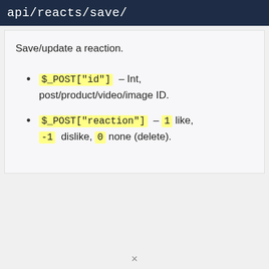api/reacts/save/
Save/update a reaction.
$_POST["id"] – Int, post/product/video/image ID.
$_POST["reaction"] – 1 like, -1 dislike, 0 none (delete).